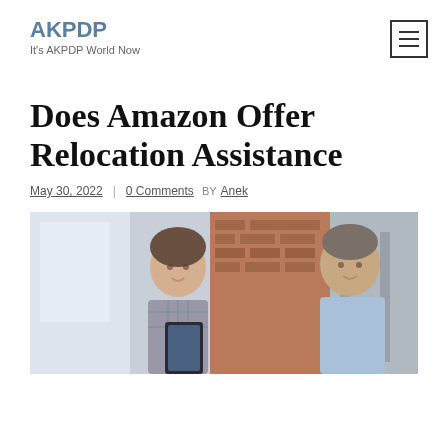AKPDP
It's AKPDP World Now
Does Amazon Offer Relocation Assistance
May 30, 2022 | 0 Comments BY Anek
[Figure (photo): Two smiling men in an office or warehouse setting, one wearing a checkered shirt holding a tablet, the other in a light blue shirt, with a brick wall and bright windows in the background.]